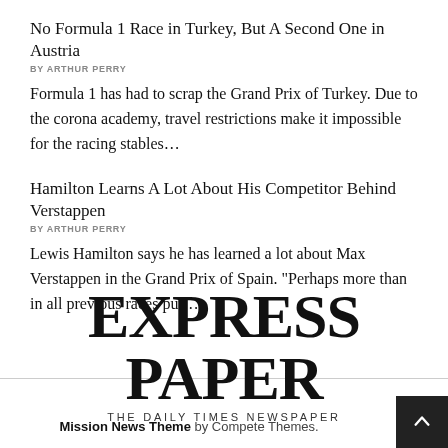No Formula 1 Race in Turkey, But A Second One in Austria
BY ARTHUR PERRY
Formula 1 has had to scrap the Grand Prix of Turkey. Due to the corona academy, travel restrictions make it impossible for the racing stables...
Hamilton Learns A Lot About His Competitor Behind Verstappen
BY ARTHUR PERRY
Lewis Hamilton says he has learned a lot about Max Verstappen in the Grand Prix of Spain. "Perhaps more than in all previous races put...
[Figure (logo): EXPRESS PAPER - THE DAILY TIMES NEWSPAPER logo]
Mission News Theme by Compete Themes.